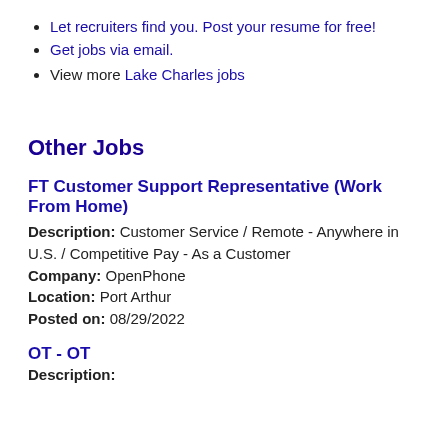Let recruiters find you. Post your resume for free!
Get jobs via email.
View more Lake Charles jobs
Other Jobs
FT Customer Support Representative (Work From Home)
Description: Customer Service / Remote - Anywhere in U.S. / Competitive Pay - As a Customer
Company: OpenPhone
Location: Port Arthur
Posted on: 08/29/2022
OT - OT
Description: ...